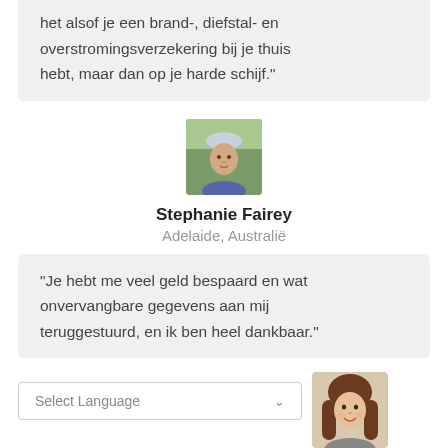het alsof je een brand-, diefstal- en overstromingsverzekering bij je thuis hebt, maar dan op je harde schijf."
[Figure (photo): Profile photo of Stephanie Fairey, person wearing a cap, outdoors]
Stephanie Fairey
Adelaide, Australië
"Je hebt me veel geld bespaard en wat onvervangbare gegevens aan mij teruggestuurd, en ik ben heel dankbaar."
[Figure (photo): Profile photo of a woman with long brown hair, smiling]
Select Language